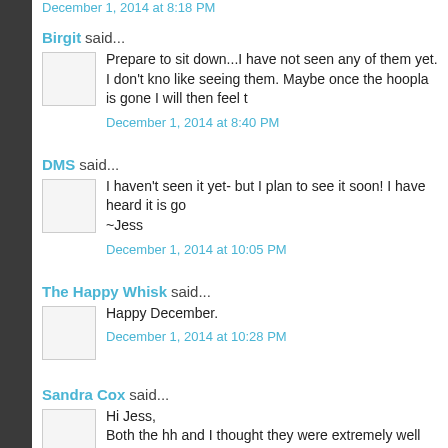December 1, 2014 at 8:18 PM
Birgit said...
Prepare to sit down...I have not seen any of them yet. I don't kno like seeing them. Maybe once the hoopla is gone I will then feel t
December 1, 2014 at 8:40 PM
DMS said...
I haven't seen it yet- but I plan to see it soon! I have heard it is go ~Jess
December 1, 2014 at 10:05 PM
The Happy Whisk said...
Happy December.
December 1, 2014 at 10:28 PM
Sandra Cox said...
Hi Jess,
Both the hh and I thought they were extremely well done.
December 2, 2014 at 9:43 AM
Sandra Cox said...